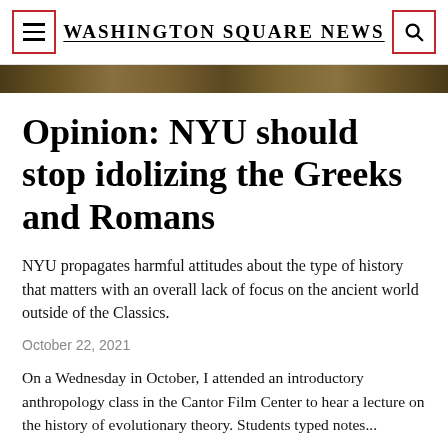Washington Square News
[Figure (photo): A narrow horizontal strip showing a close-up of a textured earthy/natural scene with warm brown and golden tones.]
Opinion: NYU should stop idolizing the Greeks and Romans
NYU propagates harmful attitudes about the type of history that matters with an overall lack of focus on the ancient world outside of the Classics.
October 22, 2021
On a Wednesday in October, I attended an introductory anthropology class in the Cantor Film Center to hear a lecture on the history of evolutionary theory. Students typed notes...